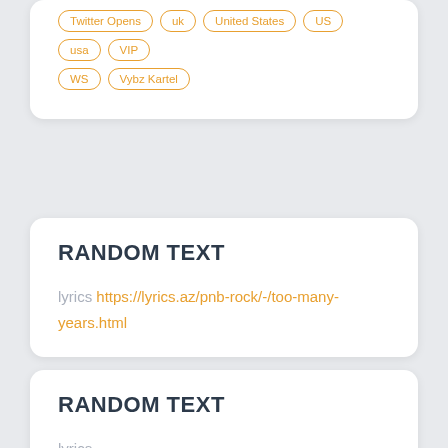Twitter Opens
uk
United States
US
usa
VIP
WS
Vybz Kartel
RANDOM TEXT
lyrics https://lyrics.az/pnb-rock/-/too-many-years.html
RANDOM TEXT
lyrics